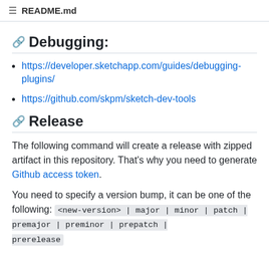README.md
Debugging:
https://developer.sketchapp.com/guides/debugging-plugins/
https://github.com/skpm/sketch-dev-tools
Release
The following command will create a release with zipped artifact in this repository. That's why you need to generate Github access token.
You need to specify a version bump, it can be one of the following: <new-version> | major | minor | patch | premajor | preminor | prepatch | prerelease